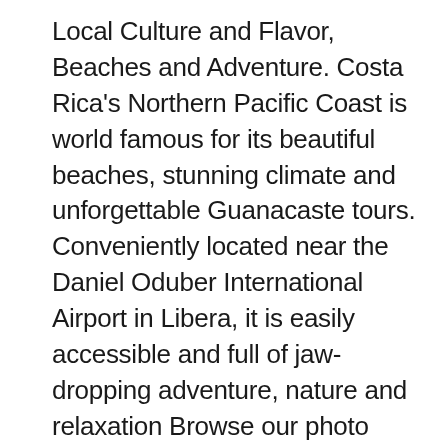Local Culture and Flavor, Beaches and Adventure. Costa Rica's Northern Pacific Coast is world famous for its beautiful beaches, stunning climate and unforgettable Guanacaste tours. Conveniently located near the Daniel Oduber International Airport in Libera, it is easily accessible and full of jaw-dropping adventure, nature and relaxation Browse our photo galleries to view free Costa Rica trail maps for national parks, reserves, waterfalls, and other areas of interest!
Diamante Eco Adventure Park. 33K likes. THE ADVENTURE BEGINS HERE! Experience Costa Rica's Wildest Adventure Park! A day's worth of activities at Diamante Eco Adventure park. Diamante Eco Adventure park is created to i...